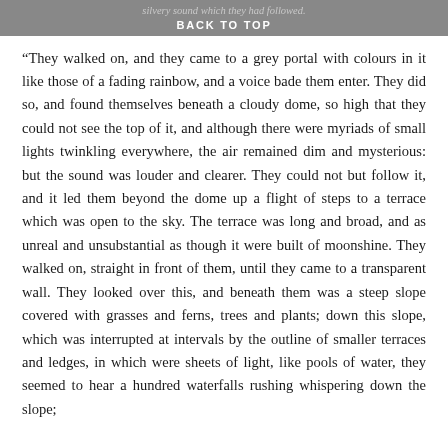silvery sound which they had followed. BACK TO TOP
“They walked on, and they came to a grey portal with colours in it like those of a fading rainbow, and a voice bade them enter. They did so, and found themselves beneath a cloudy dome, so high that they could not see the top of it, and although there were myriads of small lights twinkling everywhere, the air remained dim and mysterious: but the sound was louder and clearer. They could not but follow it, and it led them beyond the dome up a flight of steps to a terrace which was open to the sky. The terrace was long and broad, and as unreal and unsubstantial as though it were built of moonshine. They walked on, straight in front of them, until they came to a transparent wall. They looked over this, and beneath them was a steep slope covered with grasses and ferns, trees and plants; down this slope, which was interrupted at intervals by the outline of smaller terraces and ledges, in which were sheets of light, like pools of water, they seemed to hear a hundred waterfalls rushing whispering down the slope;